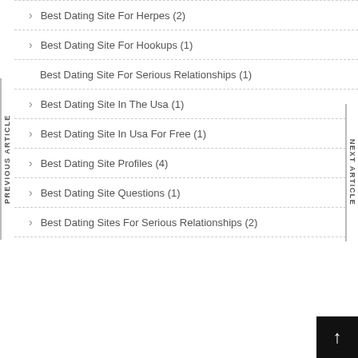Best Dating Site For Herpes (2)
Best Dating Site For Hookups (1)
Best Dating Site For Serious Relationships (1)
Best Dating Site In The Usa (1)
Best Dating Site In Usa For Free (1)
Best Dating Site Profiles (4)
Best Dating Site Questions (1)
Best Dating Sites For Serious Relationships (2)